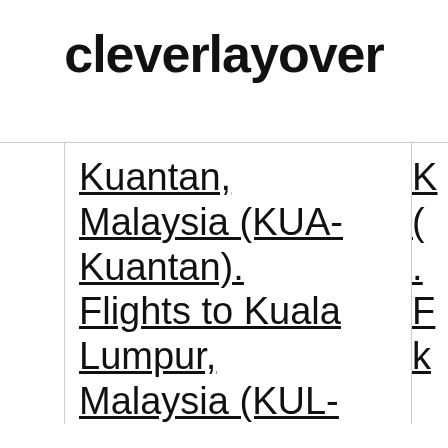cleverlayover
Kuantan, Malaysia (KUA-Kuantan). Flights to Kuala Lumpur, Malaysia (KUL-
K... (partially visible, cropped right column)